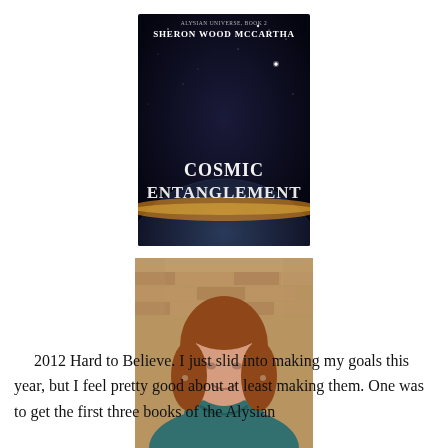[Figure (illustration): Book cover for 'Cosmic Entanglement' by Sheron Wood McCartha. Dark space background with a planet and stars, title text 'COSMIC ENTANGLEMENT' in white serif font.]
[Figure (photo): Author photo: a middle-aged woman with reddish-brown shoulder-length hair, wearing a dark teal sweater, smiling, with a brick wall background.]
2012 Hard to Believe. I just slid into making my goals this year, but I feel pretty good about at least making them. One was to get the first three books of the Alysian